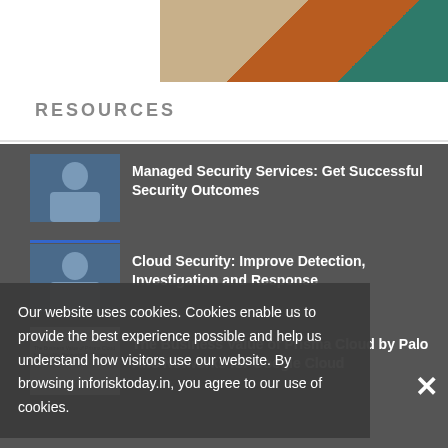[Figure (photo): Top portion of page showing a partial image with beige, orange/brown, and teal colored sections]
RESOURCES
[Figure (photo): Thumbnail of a man in a suit - resource item 1]
Managed Security Services: Get Successful Security Outcomes
[Figure (photo): Thumbnail of a man in a suit - resource item 2]
Cloud Security: Improve Detection, Investigation and Response
[Figure (photo): IDC report cover thumbnail - The Business Value of Prisma Cloud by Palo Alto Networks for Google Cloud]
The Business Value of Prisma Cloud by Palo Alto Networks for Google Cloud
Our website uses cookies. Cookies enable us to provide the best experience possible and help us understand how visitors use our website. By browsing inforisktoday.in, you agree to our use of cookies.